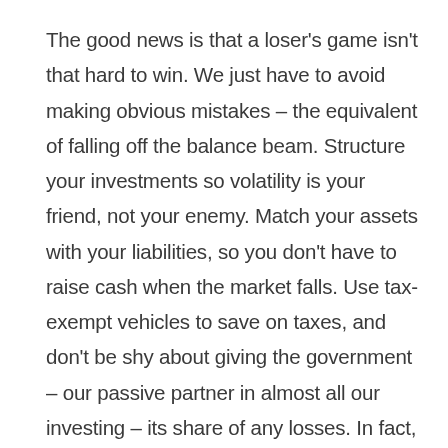The good news is that a loser's game isn't that hard to win. We just have to avoid making obvious mistakes – the equivalent of falling off the balance beam. Structure your investments so volatility is your friend, not your enemy. Match your assets with your liabilities, so you don't have to raise cash when the market falls. Use tax-exempt vehicles to save on taxes, and don't be shy about giving the government – our passive partner in almost all our investing – its share of any losses. In fact, using the government's passive partnership in our finances is a way to improve our returns and reduce risk. The most important part is staying committed to a sound investment policy during the inevitable euphoria and depression of a market cycle.